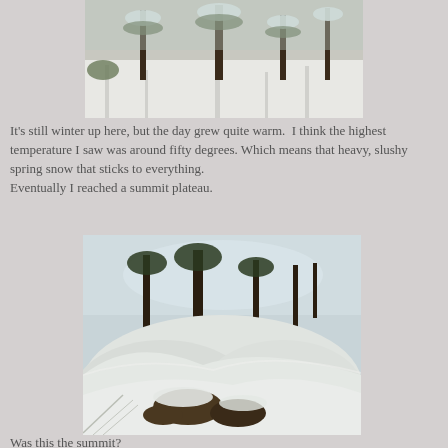[Figure (photo): Snow-covered forest with pine trees casting shadows on white snow, bright winter day.]
It's still winter up here, but the day grew quite warm.  I think the highest temperature I saw was around fifty degrees. Which means that heavy, slushy spring snow that sticks to everything.
Eventually I reached a summit plateau.
[Figure (photo): Summit plateau covered in deep snow with wind-sculpted snow drifts, dark exposed rocks partially buried, and sparse pine trees against a bright sky.]
Was this the summit?